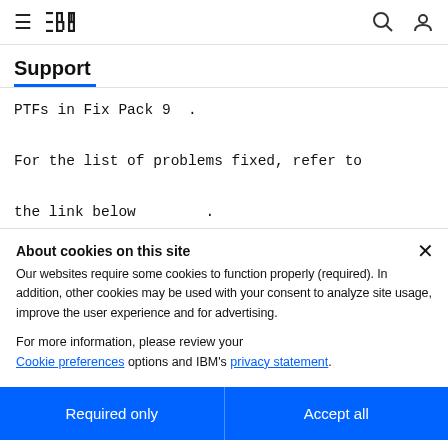IBM Support
Support
PTFs in Fix Pack 9 .
For the list of problems fixed, refer to the link below .
About cookies on this site
Our websites require some cookies to function properly (required). In addition, other cookies may be used with your consent to analyze site usage, improve the user experience and for advertising.

For more information, please review your Cookie preferences options and IBM's privacy statement.
Required only
Accept all